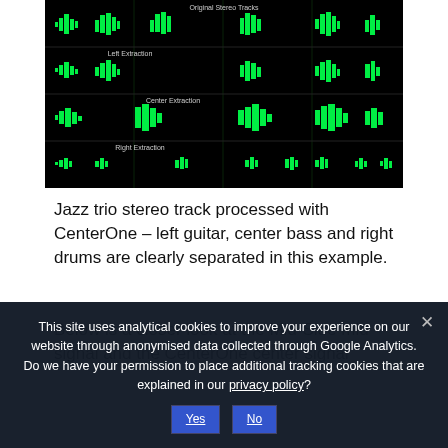[Figure (screenshot): Audio waveform display showing four tracks on black background: Original Stereo Tracks (top), Left Extraction, Center Extraction, and Right Extraction. All tracks show green waveforms with vertical gridlines.]
Jazz trio stereo track processed with CenterOne – left guitar, center bass and right drums are clearly separated in this example.
Below is a closer look at the Mid-Side mid signal and the CenterOne center signal
This site uses analytical cookies to improve your experience on our website through anonymised data collected through Google Analytics.
Do we have your permission to place additional tracking cookies that are explained in our privacy policy?
Yes   No